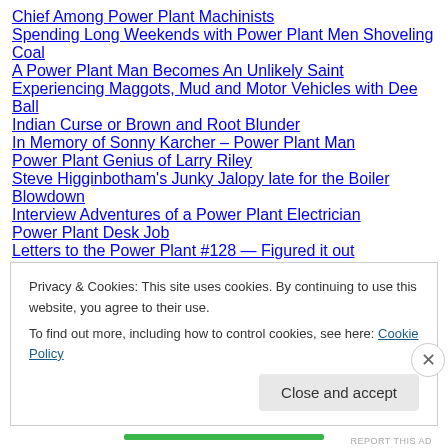Chief Among Power Plant Machinists
Spending Long Weekends with Power Plant Men Shoveling Coal
A Power Plant Man Becomes An Unlikely Saint
Experiencing Maggots, Mud and Motor Vehicles with Dee Ball
Indian Curse or Brown and Root Blunder
In Memory of Sonny Karcher – Power Plant Man
Power Plant Genius of Larry Riley
Steve Higginbotham's Junky Jalopy late for the Boiler Blowdown
Interview Adventures of a Power Plant Electrician
Power Plant Desk Job
Letters to the Power Plant #128 — Figured it out
Letters to the Power Plant #127 — Shufflin' Around at Dell
Letters to the Power Plant #126 — Travelin' at Dell
Privacy & Cookies: This site uses cookies. By continuing to use this website, you agree to their use.
To find out more, including how to control cookies, see here: Cookie Policy
Close and accept